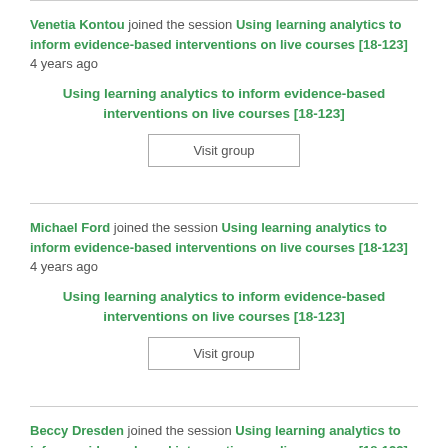Venetia Kontou joined the session Using learning analytics to inform evidence-based interventions on live courses [18-123] 4 years ago
Using learning analytics to inform evidence-based interventions on live courses [18-123]
Visit group
Michael Ford joined the session Using learning analytics to inform evidence-based interventions on live courses [18-123] 4 years ago
Using learning analytics to inform evidence-based interventions on live courses [18-123]
Visit group
Beccy Dresden joined the session Using learning analytics to inform evidence-based interventions on live courses [18-123] 4 years ago